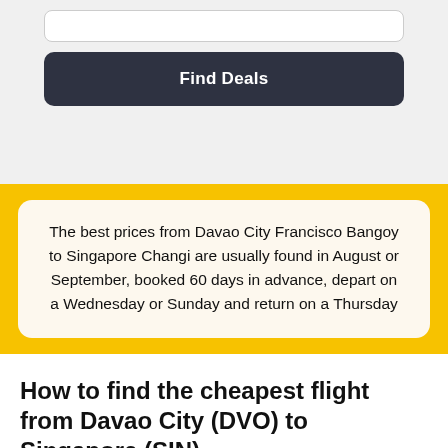Find Deals
The best prices from Davao City Francisco Bangoy to Singapore Changi are usually found in August or September, booked 60 days in advance, depart on a Wednesday or Sunday and return on a Thursday
How to find the cheapest flight from Davao City (DVO) to Singapore (SIN)